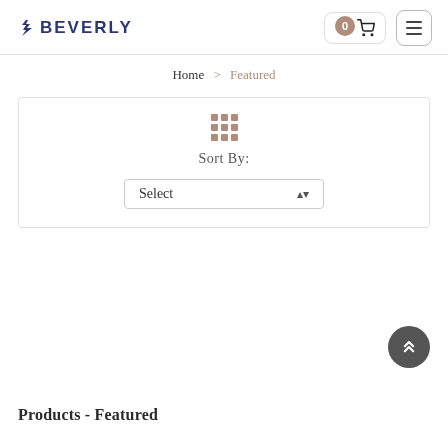BEVERLY
Home > Featured
Sort By: Select
Products - Featured